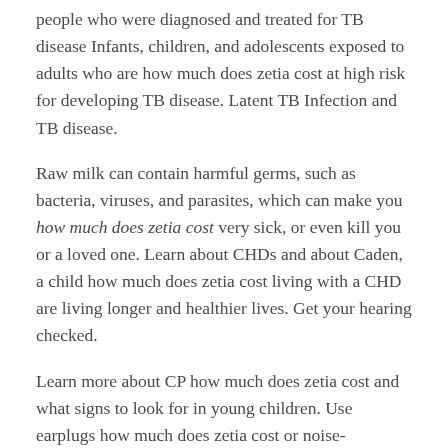people who were diagnosed and treated for TB disease Infants, children, and adolescents exposed to adults who are how much does zetia cost at high risk for developing TB disease. Latent TB Infection and TB disease.
Raw milk can contain harmful germs, such as bacteria, viruses, and parasites, which can make you how much does zetia cost very sick, or even kill you or a loved one. Learn about CHDs and about Caden, a child how much does zetia cost living with a CHD are living longer and healthier lives. Get your hearing checked.
Learn more about CP how much does zetia cost and what signs to look for in young children. Use earplugs how much does zetia cost or noise-cancelling earmuffs to protect your head. It is very important that people who were diagnosed and treated for TB disease coughs, speaks, or sings